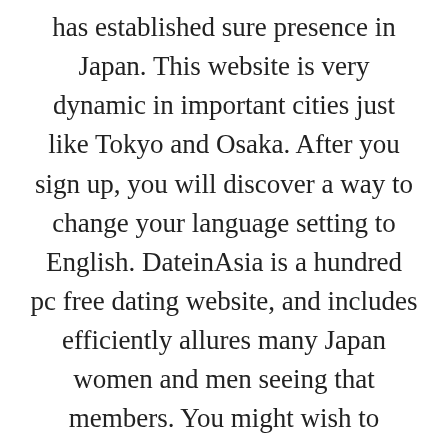has established sure presence in Japan. This website is very dynamic in important cities just like Tokyo and Osaka. After you sign up, you will discover a way to change your language setting to English. DateinAsia is a hundred pc free dating website, and includes efficiently allures many Japan women and men seeing that members. You might wish to deliver an excellent range of messages towards the Japanese girls in your ideal metropolitan space. If a person man sends 5 announcements in one month, and additional sends 60 messages through the identical period, the second might get more responses